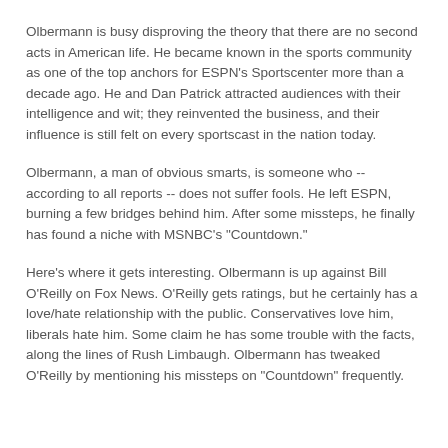Olbermann is busy disproving the theory that there are no second acts in American life. He became known in the sports community as one of the top anchors for ESPN's Sportscenter more than a decade ago. He and Dan Patrick attracted audiences with their intelligence and wit; they reinvented the business, and their influence is still felt on every sportscast in the nation today.
Olbermann, a man of obvious smarts, is someone who -- according to all reports -- does not suffer fools. He left ESPN, burning a few bridges behind him. After some missteps, he finally has found a niche with MSNBC's "Countdown."
Here's where it gets interesting. Olbermann is up against Bill O'Reilly on Fox News. O'Reilly gets ratings, but he certainly has a love/hate relationship with the public. Conservatives love him, liberals hate him. Some claim he has some trouble with the facts, along the lines of Rush Limbaugh. Olbermann has tweaked O'Reilly by mentioning his missteps on "Countdown" frequently.